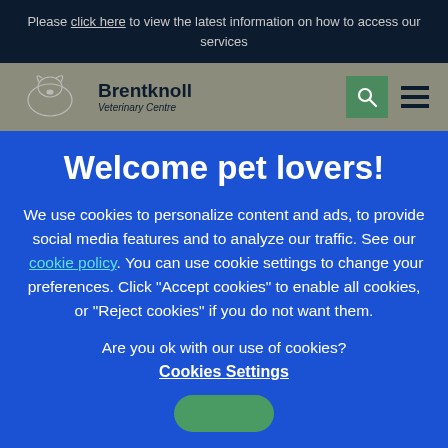Please click here to view the latest information on how to access our services
[Figure (logo): Brentknoll Veterinary Centre logo with dog/cat silhouette illustration]
Welcome pet lovers!
We use cookies to personalize content and ads, to provide social media features and to analyze our traffic. See our cookie policy. You can use cookie settings to change your preferences. Click "Accept cookies" to enable all cookies, or "Reject cookies" if you do not want them.
Are you ok with our use of cookies?
Cookies Settings